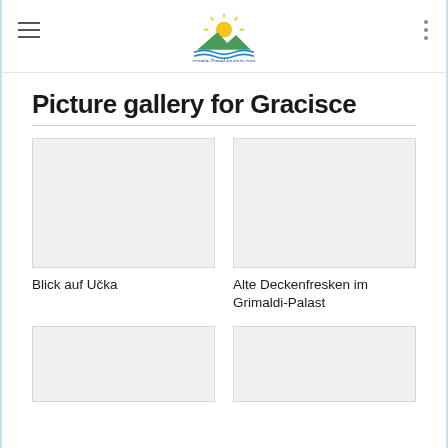croatia-travel-tourism.com logo and navigation
Picture gallery for Gracisce
[Figure (photo): Empty image placeholder for Blick auf Učka]
Blick auf Učka
[Figure (photo): Empty image placeholder for Alte Deckenfresken im Grimaldi-Palast]
Alte Deckenfresken im Grimaldi-Palast
[Figure (photo): Empty image placeholder (bottom left)]
[Figure (photo): Empty image placeholder (bottom right)]